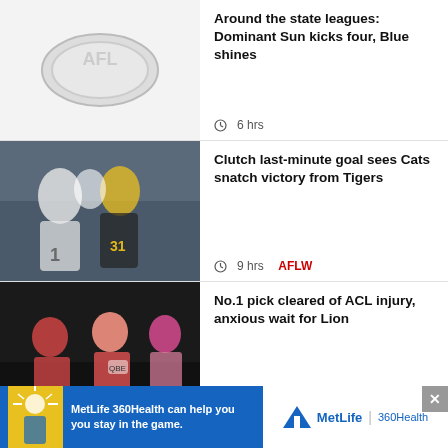[Figure (photo): AFL logo placeholder thumbnail]
Around the state leagues: Dominant Sun kicks four, Blue shines
6 hrs
[Figure (photo): AFLW players celebrating, Cats vs Tigers]
Clutch last-minute goal sees Cats snatch victory from Tigers
9 hrs AFLW
[Figure (photo): Player being helped off field with injury, AFLW]
No.1 pick cleared of ACL injury, anxious wait for Lion
10 hrs AFLW
[Figure (infographic): MetLife 360Health advertisement banner]